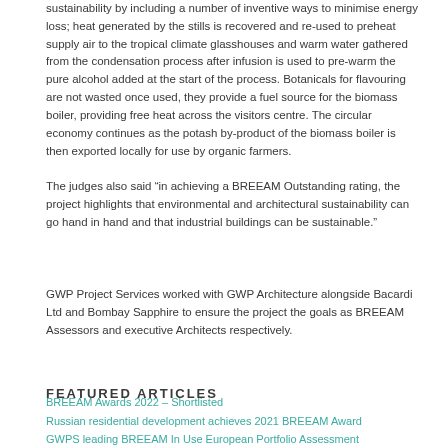sustainability by including a number of inventive ways to minimise energy loss; heat generated by the stills is recovered and re-used to preheat supply air to the tropical climate glasshouses and warm water gathered from the condensation process after infusion is used to pre-warm the pure alcohol added at the start of the process. Botanicals for flavouring are not wasted once used, they provide a fuel source for the biomass boiler, providing free heat across the visitors centre. The circular economy continues as the potash by-product of the biomass boiler is then exported locally for use by organic farmers.
The judges also said “in achieving a BREEAM Outstanding rating, the project highlights that environmental and architectural sustainability can go hand in hand and that industrial buildings can be sustainable.”
GWP Project Services worked with GWP Architecture alongside Bacardi Ltd and Bombay Sapphire to ensure the project the goals as BREEAM Assessors and executive Architects respectively.
FEATURED ARTICLES
BREEAM Awards 2022 – Shortlisted
Russian residential development achieves 2021 BREEAM Award
GWPS leading BREEAM In Use European Portfolio Assessment
GWP SECURE ‘EXCELLENT’ BREEAM CERTIFICATION FOR MEPC LEEDS ASSET